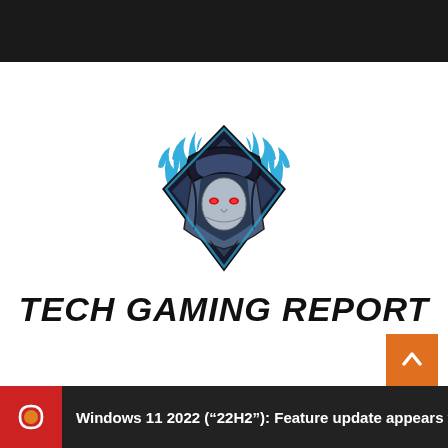[Figure (logo): Tech Gaming Report logo: a hooded masked figure with red glowing eyes inside a diamond/shield shape with blue flames, in dark and light blue tones with black outlines]
TECH GAMING REPORT
Windows 11 2022 (“22H2”): Feature update appears w